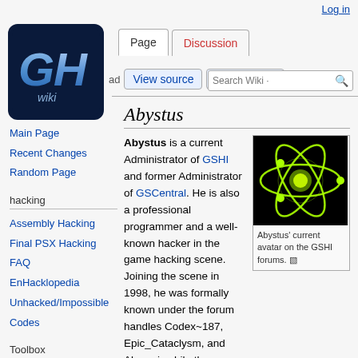Log in
[Figure (logo): GH wiki logo — dark blue rounded square with stylized G and H letters in metallic blue and the word 'wiki' below]
Page | Discussion | View source | View history
Abystus
Abystus is a current Administrator of GSHI and former Administrator of GSCentral. He is also a professional programmer and a well-known hacker in the game hacking scene. Joining the scene in 1998, he was formally known under the forum handles Codex~187, Epic_Cataclysm, and Akumajr while the
[Figure (photo): Atom model graphic — neon green glowing atom illustration on black background]
Abystus' current avatar on the GSHI forums.
Main Page
Recent Changes
Random Page
hacking
Assembly Hacking
Final PSX Hacking FAQ
EnHacklopedia
Unhacked/Impossible Codes
Toolbox
What links here
Related changes